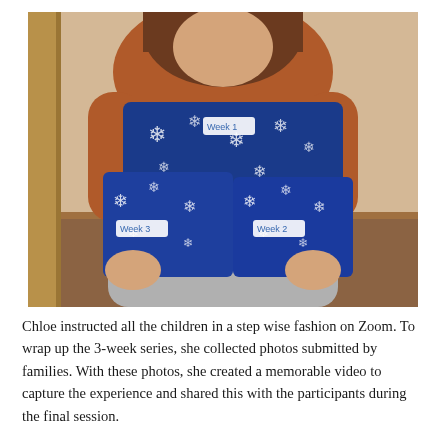[Figure (photo): A child sitting on stairs holding three wrapped gifts in blue snowflake wrapping paper, labeled Week 1, Week 2, and Week 3.]
Chloe instructed all the children in a step wise fashion on Zoom. To wrap up the 3-week series, she collected photos submitted by families. With these photos, she created a memorable video to capture the experience and shared this with the participants during the final session.